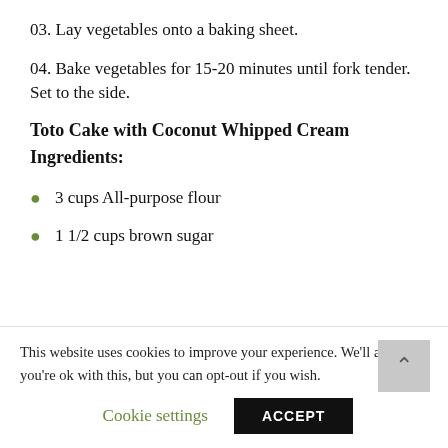03. Lay vegetables onto a baking sheet.
04. Bake vegetables for 15-20 minutes until fork tender. Set to the side.
Toto Cake with Coconut Whipped Cream
Ingredients:
3 cups All-purpose flour
1 1/2 cups brown sugar
This website uses cookies to improve your experience. We'll assume you're ok with this, but you can opt-out if you wish.
Cookie settings
ACCEPT